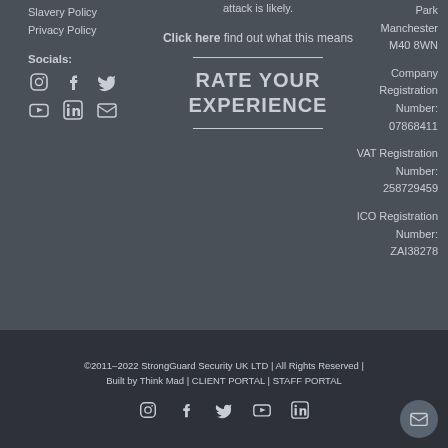Slavery Policy
Privacy Policy
Socials:
[Figure (other): Social media icons: Instagram, Facebook, Twitter, YouTube, LinkedIn, Email in two rows]
attack is likely.
Click here find out what this means
RATE YOUR EXPERIENCE
Park
Manchester
M40 8WN

Company Registration Number:
07868411

VAT Registration Number:
258729459

ICO Registration Number:
ZAI38278
©2011-2022 StrongGuard Security UK LTD | All Rights Reserved | Built by Think Mad | CLIENT PORTAL | STAFF PORTAL
[Figure (other): Footer social media icons: Instagram, Facebook, Twitter, YouTube, LinkedIn and email button]